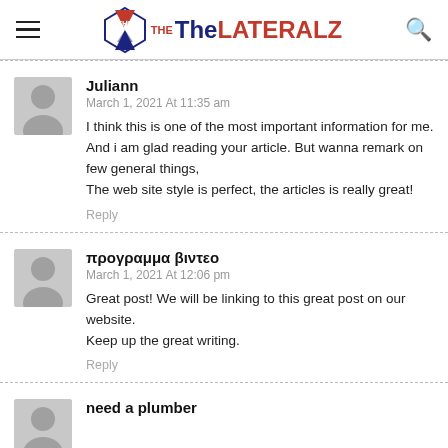The LATERALZ
Juliann
March 1, 2021 At 11:35 am
I think this is one of the most important information for me.
And i am glad reading your article. But wanna remark on few general things,
The web site style is perfect, the articles is really great!
Reply
προγραμμα βιντεο
March 1, 2021 At 12:06 pm
Great post! We will be linking to this great post on our website.
Keep up the great writing.
Reply
need a plumber